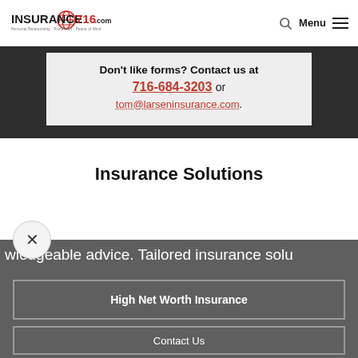INSURANCE716.COM — Personal Relationship . Protection . Peace of Mind — Menu
Don't like forms? Contact us at 716-684-3203 or tom@larseninsurance.com.
Insurance Solutions
wledgeable advice. Tailored insurance solu
High Net Worth Insurance
Contact Us